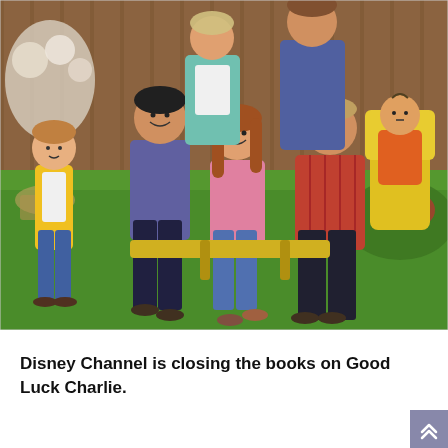[Figure (photo): Cast photo of the Good Luck Charlie TV show. A group of people including adults and children posed in a backyard setting with green grass, wooden fence, and flowers. A young girl in yellow cardigan stands on the left, two teenagers sit on a bench in the center, a young man in red plaid sits right of center, a baby in yellow chair is on the far right, and two adults stand in the background.]
Disney Channel is closing the books on Good Luck Charlie.